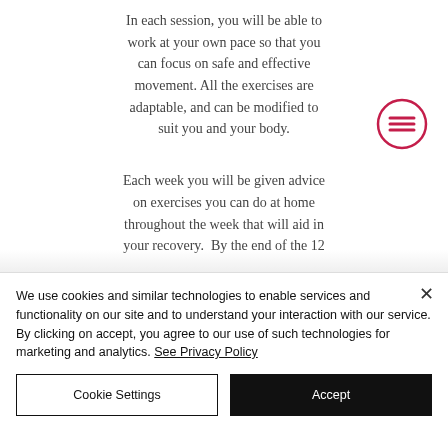In each session, you will be able to work at your own pace so that you can focus on safe and effective movement. All the exercises are adaptable, and can be modified to suit you and your body.
[Figure (illustration): Hamburger/menu icon: three horizontal lines inside a circle, outlined in pink/crimson color]
Each week you will be given advice on exercises you can do at home throughout the week that will aid in your recovery. By the end of the 12
We use cookies and similar technologies to enable services and functionality on our site and to understand your interaction with our service. By clicking on accept, you agree to our use of such technologies for marketing and analytics. See Privacy Policy